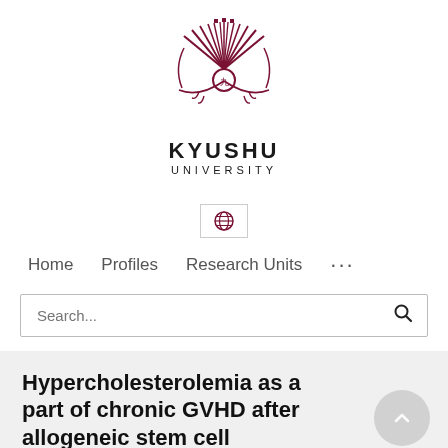[Figure (logo): Kyushu University logo — stylized phoenix/sun rays emblem in dark red/maroon]
KYUSHU UNIVERSITY
[Figure (other): Globe/language selector icon button]
Home   Profiles   Research Units   ...
Search...
Hypercholesterolemia as a part of chronic GVHD after allogeneic stem cell transplantation
Motoko Kanagawa, Kenichi Matsumba, Yume Kanishi...